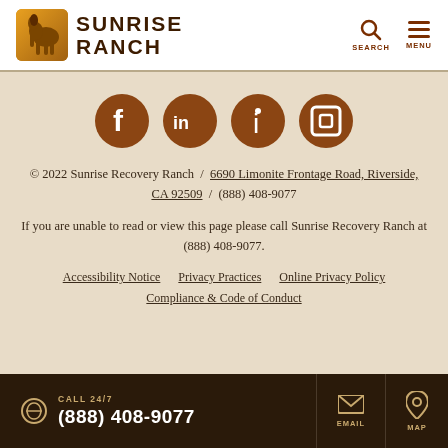[Figure (logo): Sunrise Ranch logo with horse silhouette icon in orange/gold square and text SUNRISE RANCH in dark brown]
[Figure (infographic): Navigation header icons: Search magnifier and Menu hamburger icon in dark brown/maroon]
[Figure (infographic): Four social media icons in brown circles: Facebook (f), LinkedIn (in), some info icon (i), and another icon]
© 2022 Sunrise Recovery Ranch / 6690 Limonite Frontage Road, Riverside, CA 92509 / (888) 408-9077
If you are unable to read or view this page please call Sunrise Recovery Ranch at (888) 408-9077.
Accessibility Notice   Privacy Practices   Online Privacy Policy   Compliance & Code of Conduct
CALL 24/7 (888) 408-9077
EMAIL   MAP